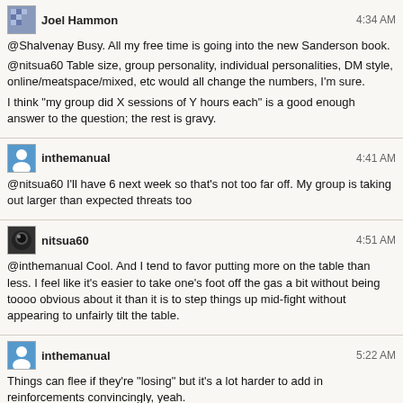Joel Hammon · 4:34 AM
@Shalvenay Busy. All my free time is going into the new Sanderson book.
@nitsua60 Table size, group personality, individual personalities, DM style, online/meatspace/mixed, etc would all change the numbers, I'm sure.
I think "my group did X sessions of Y hours each" is a good enough answer to the question; the rest is gravy.
inthemanual · 4:41 AM
@nitsua60 I'll have 6 next week so that's not too far off. My group is taking out larger than expected threats too
nitsua60 · 4:51 AM
@inthemanual Cool. And I tend to favor putting more on the table than less. I feel like it's easier to take one's foot off the gas a bit without being toooo obvious about it than it is to step things up mid-fight without appearing to unfairly tilt the table.
inthemanual · 5:22 AM
Things can flee if they're "losing" but it's a lot harder to add in reinforcements convincingly, yeah.
My group chases down and kills most things that flee though.
2 hours later...
BESW · 7:25 AM
Remember, YOU ALL have a role to play in making gaming better. More colorful. More diverse. More interesting. Safer. Welcoming. Fun. Your words & actions are choices - intentional or not.
Tweeted by 425suzanne on November 14, 2017 at 6:09 PM in reply to 425suzanne.